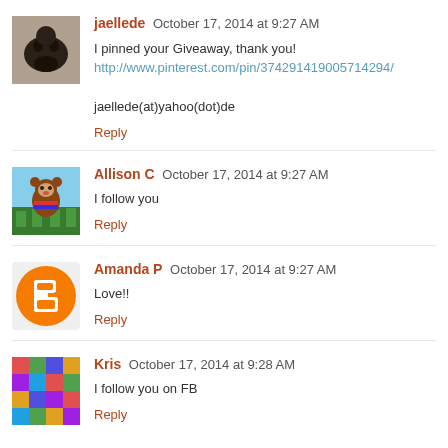jaellede  October 17, 2014 at 9:27 AM
I pinned your Giveaway, thank you!
http://www.pinterest.com/pin/374291419005714294/

jaellede(at)yahoo(dot)de

Reply
Allison C  October 17, 2014 at 9:27 AM
I follow you

Reply
Amanda P  October 17, 2014 at 9:27 AM
Love!!

Reply
Kris  October 17, 2014 at 9:28 AM
I follow you on FB

Reply